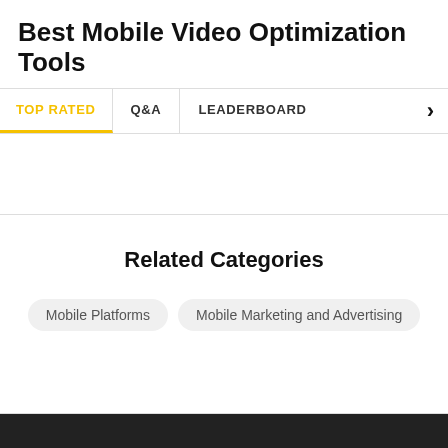Best Mobile Video Optimization Tools
TOP RATED | Q&A | LEADERBOARD
Related Categories
Mobile Platforms
Mobile Marketing and Advertising